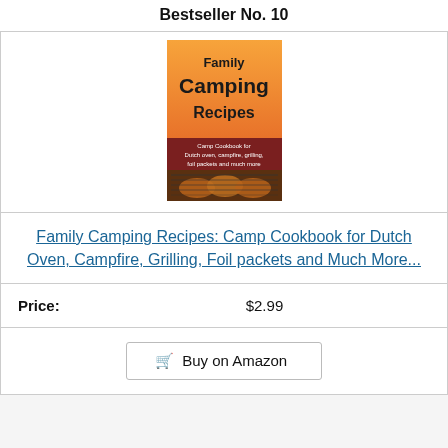Bestseller No. 10
[Figure (photo): Book cover for 'Family Camping Recipes: Camp Cookbook for Dutch oven, campfire, grilling, foil packets and much more'. Cover shows orange/brown gradient top with title text, dark red banner with subtitle, and photo of grilled chicken legs on a grill.]
Family Camping Recipes: Camp Cookbook for Dutch Oven, Campfire, Grilling, Foil packets and Much More...
| Price: | $2.99 |
| --- | --- |
Buy on Amazon